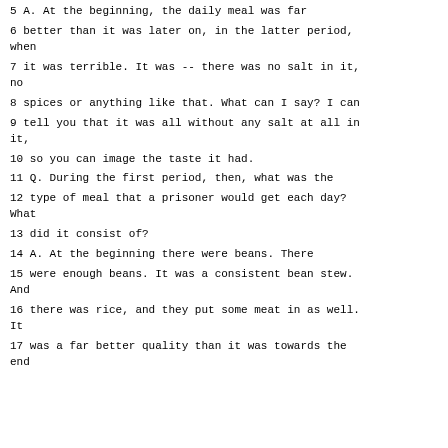5 A. At the beginning, the daily meal was far
6 better than it was later on, in the latter period, when
7 it was terrible. It was -- there was no salt in it, no
8 spices or anything like that. What can I say? I can
9 tell you that it was all without any salt at all in it,
10 so you can image the taste it had.
11 Q. During the first period, then, what was the
12 type of meal that a prisoner would get each day? What
13 did it consist of?
14 A. At the beginning there were beans. There
15 were enough beans. It was a consistent bean stew. And
16 there was rice, and they put some meat in as well. It
17 was a far better quality than it was towards the end